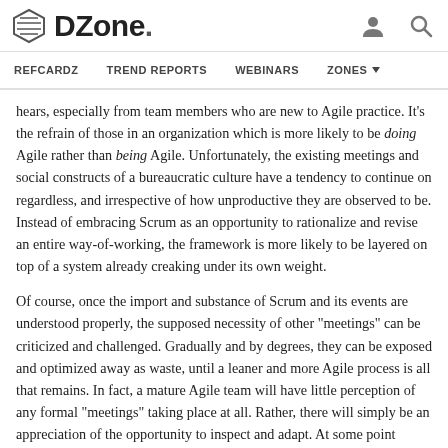DZone. [logo] [user icon] [search icon]
REFCARDZ  TREND REPORTS  WEBINARS  ZONES
hears, especially from team members who are new to Agile practice. It's the refrain of those in an organization which is more likely to be doing Agile rather than being Agile. Unfortunately, the existing meetings and social constructs of a bureaucratic culture have a tendency to continue on regardless, and irrespective of how unproductive they are observed to be. Instead of embracing Scrum as an opportunity to rationalize and revise an entire way-of-working, the framework is more likely to be layered on top of a system already creaking under its own weight.
Of course, once the import and substance of Scrum and its events are understood properly, the supposed necessity of other "meetings" can be criticized and challenged. Gradually and by degrees, they can be exposed and optimized away as waste, until a leaner and more Agile process is all that remains. In fact, a mature Agile team will have little perception of any formal "meetings" taking place at all. Rather, there will simply be an appreciation of the opportunity to inspect and adapt. At some point during this long journey, another refrain is commonly heard. "Who sends out the invites?"